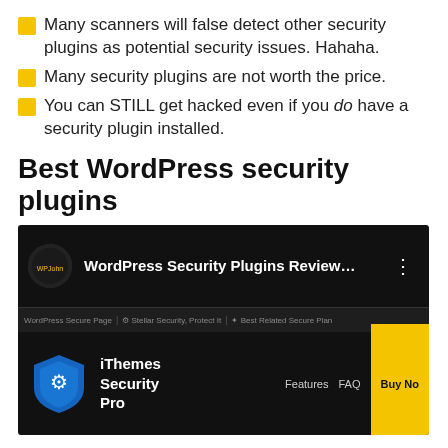Many scanners will false detect other security plugins as potential security issues. Hahaha.
Many security plugins are not worth the price.
You can STILL get hacked even if you do have a security plugin installed.
Best WordPress security plugins
[Figure (screenshot): Screenshot showing a YouTube video titled 'WordPress Security Plugins Review...' and below it a browser showing the iThemes Security Pro website with a blue shield logo and Buy Now button.]